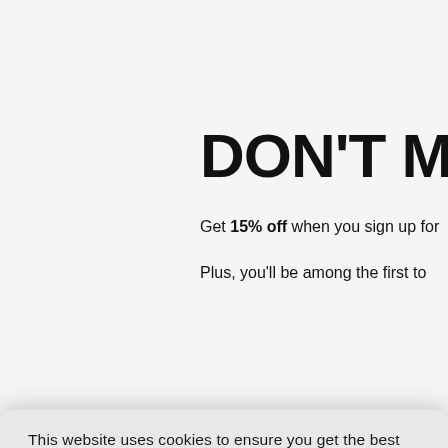DON'T MIS
Get 15% off when you sign up for
Plus, you'll be among the first to tre
This website uses cookies to ensure you get the best experience on our website. Please review our privacy policy, which describes the categories of personal information we collect about you and how that information is used. We do not sell your personal information. You can always view any updates to our Privacy Policy by clicking the "Privacy Policy" link at the bottom of our website. Learn More
Manage Cookies
Decline
Accept
×